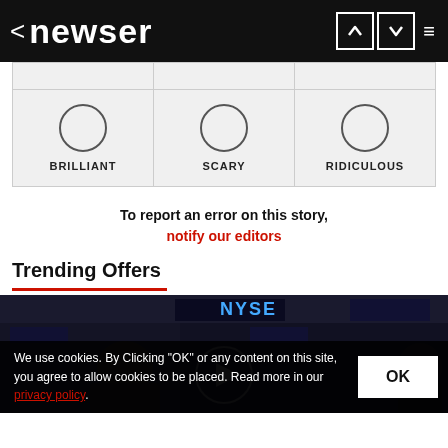< newser
|  |  |  |
| --- | --- | --- |
|  |  |  |
| BRILLIANT | SCARY | RIDICULOUS |
To report an error on this story, notify our editors
Trending Offers
[Figure (photo): NYSE trading floor with people and stock market displays]
We use cookies. By Clicking "OK" or any content on this site, you agree to allow cookies to be placed. Read more in our privacy policy.